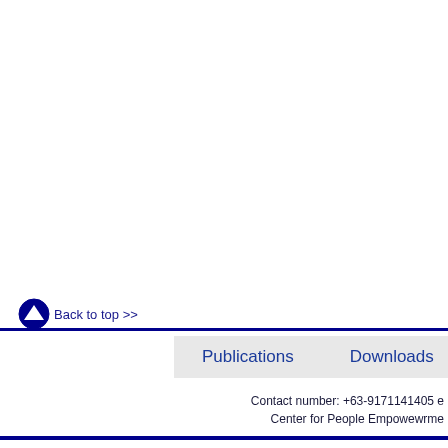Back to top >>
Publications   Downloads
Contact number: +63-9171141405 e
Center for People Empowewrme